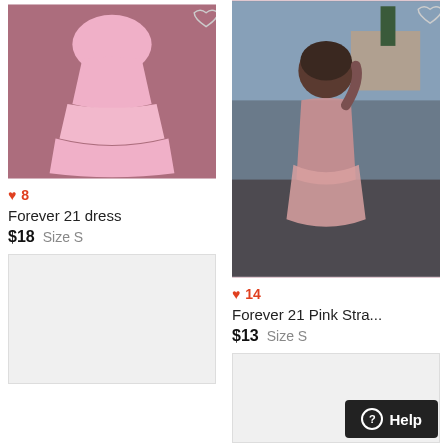[Figure (photo): Pink Forever 21 dress laid flat on a patterned rug background]
♥ 8
Forever 21 dress
$18  Size S
[Figure (photo): Placeholder/loading image (light gray box)]
[Figure (photo): Girl wearing a pink strappy Forever 21 dress outdoors in sunlight]
♥ 14
Forever 21 Pink Stra...
$13  Size S
[Figure (photo): Placeholder/loading image (light gray box)]